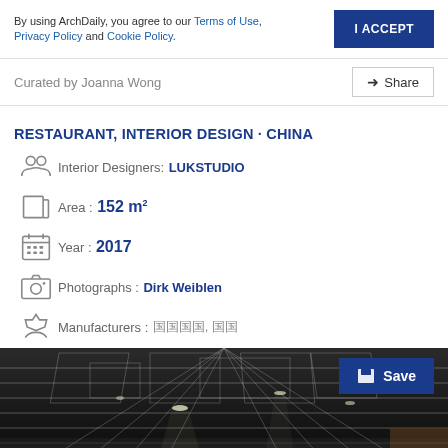By using ArchDaily, you agree to our Terms of Use, Privacy Policy and Cookie Policy.
I ACCEPT
Curated by Joanna Wong
Share
RESTAURANT, INTERIOR DESIGN · CHINA
Interior Designers: LUKSTUDIO
Area: 152 m²
Year: 2017
Photographs: Dirk Weiblen
Manufacturers: 囧囧囧囧, 囧囧
[Figure (photo): Interior photo of a restaurant with geometric wireframe ceiling installation and lighting, dark industrial aesthetic]
Save